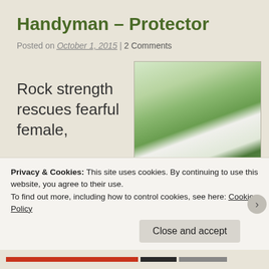Handyman – Protector
Posted on October 1, 2015 | 2 Comments
Rock strength rescues fearful female,

bug halts in
[Figure (photo): Outdoor photo showing green trees and bushes behind an iron fence/railing, with bright sky visible through the leaves. A red object is partially visible behind the fence.]
Privacy & Cookies: This site uses cookies. By continuing to use this website, you agree to their use.
To find out more, including how to control cookies, see here: Cookie Policy
Close and accept